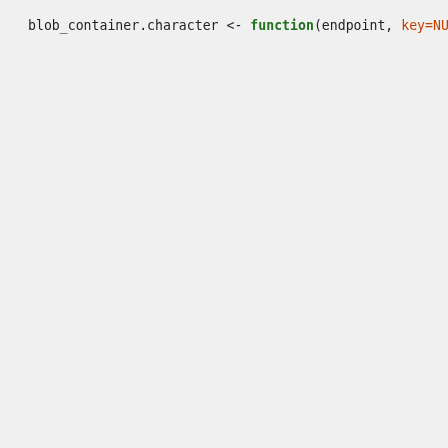blob_container.character <- function(endpoint, key=NUL
                                        api_version=getOp
{
    do.call(blob_container, generate_endpoint_containe
}

blob_container.blob_endpoint <- function(endpoint, nam
{
    obj <- list(name=name, endpoint=endpoint)
    class(obj) <- "blob_container"
    obj
}


# download a file from a blob container
download_blob <- function(container, src, dest, overwri
{
    headers <- list()
    if(!is.null(lease))
        headers[["x-ms-lease-id"]] <- as.character(lea
    do_container_op(container, src, headers=headers, d
}